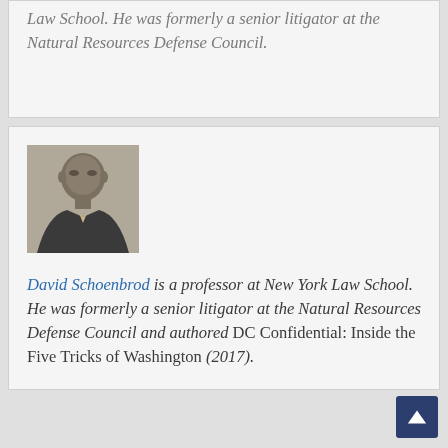Law School. He was formerly a senior litigator at the Natural Resources Defense Council.
[Figure (photo): Black and white headshot photo of David Schoenbrod, a bald man in a suit and tie.]
David Schoenbrod is a professor at New York Law School. He was formerly a senior litigator at the Natural Resources Defense Council and authored DC Confidential: Inside the Five Tricks of Washington (2017).